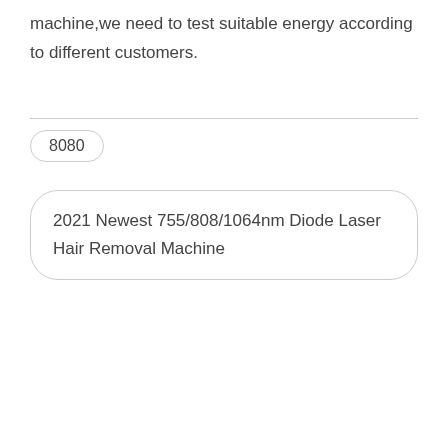machine,we need to test suitable energy according to different customers.
8080
2021 Newest 755/808/1064nm Diode Laser Hair Removal Machine